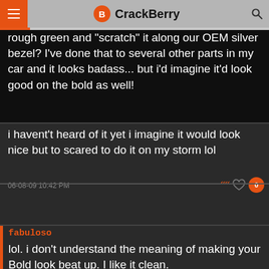CrackBerry
rough green and scratch it along our OEM silver bezel? I've done that to several other parts in my car and it looks badass... but i'd imagine it'd look good on the bold as well!
i havent't heard of it yet i imagine it would look nice but to scared to do it on my storm lol
06-08-09 10:42 PM
fabuloso
lol. i don't understand the meaning of making your Bold look beat up. I like it clean.
06-08-09 10:43 PM
gipfeli